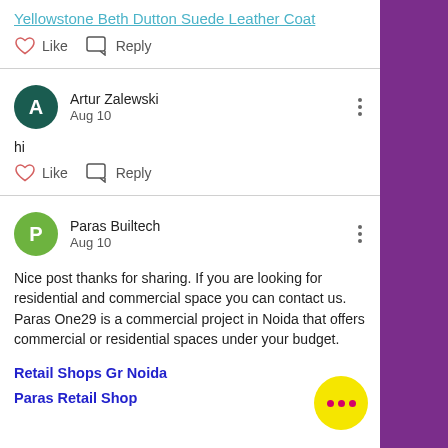Yellowstone Beth Dutton Suede Leather Coat
Like   Reply
Artur Zalewski
Aug 10
hi
Like   Reply
Paras Builtech
Aug 10
Nice post thanks for sharing. If you are looking for residential and commercial space you can contact us. Paras One29 is a commercial project in Noida that offers commercial or residential spaces under your budget.
Retail Shops Gr Noida
Paras Retail Shop